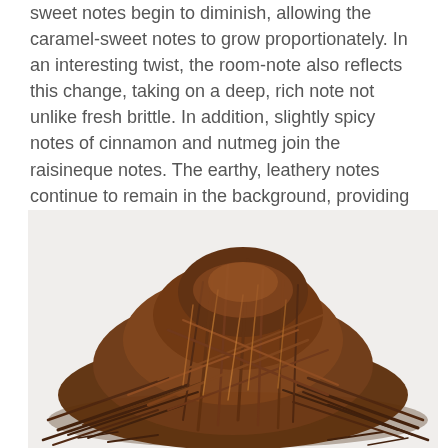sweet notes begin to diminish, allowing the caramel-sweet notes to grow proportionately. In an interesting twist, the room-note also reflects this change, taking on a deep, rich note not unlike fresh brittle. In addition, slightly spicy notes of cinnamon and nutmeg join the raisineque notes. The earthy, leathery notes continue to remain in the background, providing depth and character.
[Figure (photo): A pile of dark brown dried tobacco leaves/strands heaped on a white surface, showing the shredded texture of pipe tobacco.]